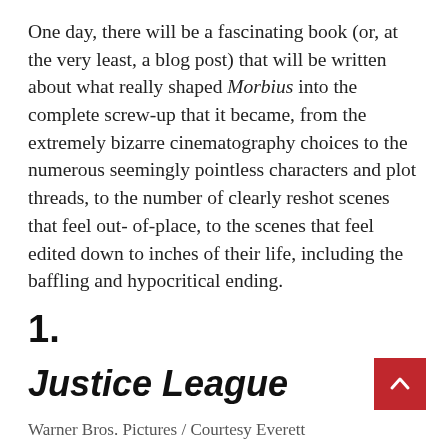One day, there will be a fascinating book (or, at the very least, a blog post) that will be written about what really shaped Morbius into the complete screw-up that it became, from the extremely bizarre cinematography choices to the numerous seemingly pointless characters and plot threads, to the number of clearly reshot scenes that feel out-of-place, to the scenes that feel edited down to inches of their life, including the baffling and hypocritical ending.
1.
Justice League
Warner Bros. Pictures / Courtesy Everett